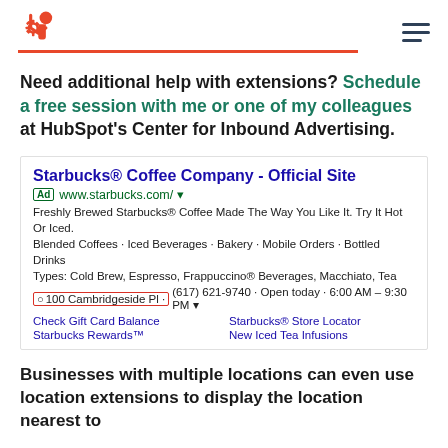HubSpot logo and navigation menu
Need additional help with extensions? Schedule a free session with me or one of my colleagues at HubSpot's Center for Inbound Advertising.
[Figure (screenshot): Google Ad for Starbucks Coffee Company showing ad title, URL, description, location extension with '100 Cambridgeside Pl' highlighted in red box, phone number, hours, and sitelink extensions (Check Gift Card Balance, Starbucks Store Locator, Starbucks Rewards, New Iced Tea Infusions)]
Businesses with multiple locations can even use location extensions to display the location nearest to